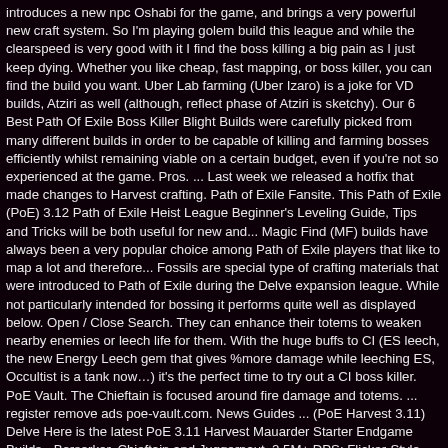introduces a new npc Oshabi for the game, and brings a very powerful new craft system. So I'm playing golem build this league and while the clearspeed is very good with it I find the boss killing a big pain as I just keep dying. Whether you like cheap, fast mapping, or boss killer, you can find the build you want. Uber Lab farming (Uber Izaro) is a joke for VD builds, Atziri as well (although, reflect phase of Atziri is sketchy). Our 6 Best Path Of Exile Boss Killer Blight Builds were carefully picked from many different builds in order to be capable of killing and farming bosses efficiently whilst remaining viable on a certain budget, even if you're not so experienced at the game. Pros. ... Last week we released a hotfix that made changes to Harvest crafting. Path of Exile Fansite. This Path of Exile (PoE) 3.12 Path of Exile Heist League Beginner's Leveling Guide, Tips and Tricks will be both useful for new and... Magic Find (MF) builds have always been a very popular choice among Path of Exile players that like to map a lot and therefore... Fossils are special type of crafting materials that were introduced to Path of Exile during the Delve expansion league. While not particularly intended for bossing it performs quite well as displayed below. Open / Close Search. They can enhance their totems to weaken nearby enemies or leech life for them. With the huge buffs to CI (ES leech, the new Energy Leech gem that gives %more damage while leeching ES, Occultist is a tank now…) it's the perfect time to try out a CI boss killer. PoE Vault. The Chieftain is focused around fire damage and totems. ... register remove ads poe-vault.com. News Guides ... (PoE Harvest 3.11) Delve Here is the latest PoE 3.11 Harvest Mauarder Starter Endgame Builds - Berserker, Chieftain and Juggernaut. 2.5M+ DPS; Flicker-Style Map clearing This PoE Delirium boss killer build is Hardcore and Softcore viable, making Uber Izaro and Shaper incredibly easy fights. Please note that even though we refer to "low budget" here, as CI is pretty good in Delirium, CI items can be more expensive...